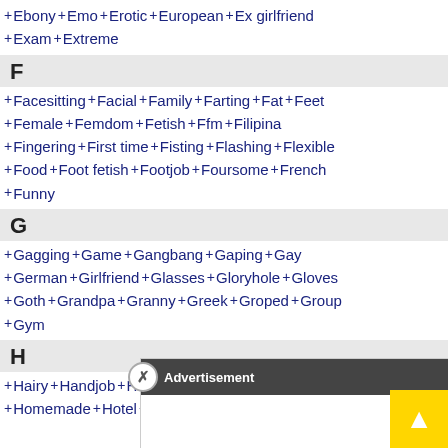+ Ebony + Emo + Erotic + European + Ex girlfriend + Exam + Extreme
F
+ Facesitting + Facial + Family + Farting + Fat + Feet
+ Female + Femdom + Fetish + Ffm + Filipina
+ Fingering + First time + Fisting + Flashing + Flexible
+ Food + Foot fetish + Footjob + Foursome + French
+ Funny
G
+ Gagging + Game + Gangbang + Gaping + Gay
+ German + Girlfriend + Glasses + Gloryhole + Gloves
+ Goth + Grandpa + Granny + Greek + Groped + Group
+ Gym
H
+ Hairy + Handjob + Hardcore + Hd + Heels + Hent
+ Homemade + Hotel + Housewife + Huge + Huge c